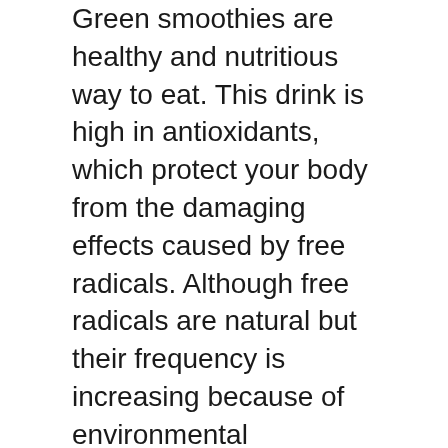Green smoothies are healthy and nutritious way to eat. This drink is high in antioxidants, which protect your body from the damaging effects caused by free radicals. Although free radicals are natural but their frequency is increasing because of environmental stressors. They cause damage to cells and have been linked to chronic illnesses. Green smoothies are healthy and delicious. They can help you achieve the daily recommended intake.
Fruit smoothies
A smoothie is a fantastic snack or meal replacement. It is quick and easy to consume, has all the nutrients your body needs it tastes delicious and is delicious